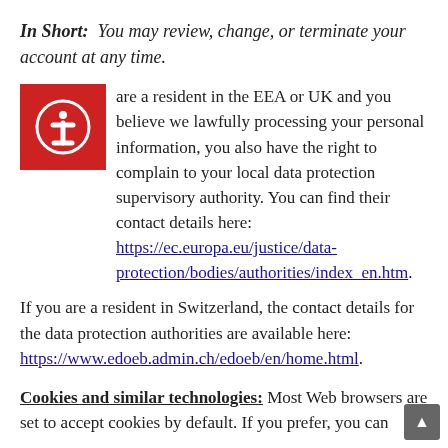In Short: You may review, change, or terminate your account at any time.
are a resident in the EEA or UK and you believe we lawfully processing your personal information, you also have the right to complain to your local data protection supervisory authority. You can find their contact details here: https://ec.europa.eu/justice/data-protection/bodies/authorities/index_en.htm.
If you are a resident in Switzerland, the contact details for the data protection authorities are available here: https://www.edoeb.admin.ch/edoeb/en/home.html.
Cookies and similar technologies: Most Web browsers are set to accept cookies by default. If you prefer, you can